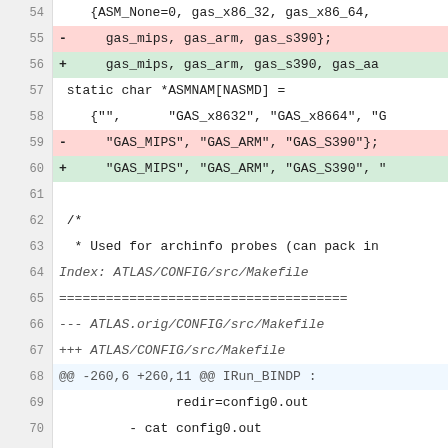Code diff showing lines 54-77 of a C source file and Makefile, with removed lines (red) and added lines (green) for gas_aarch64 support.